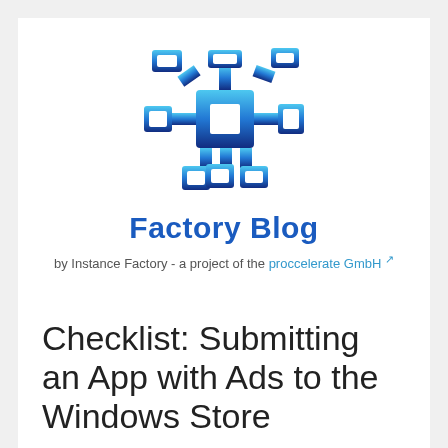[Figure (logo): Factory Blog logo — a network/flowchart icon in blue gradient (light blue at top, dark blue at bottom) resembling connected rectangular nodes, above the text 'Factory Blog']
Factory Blog
by Instance Factory - a project of the proccelerate GmbH ↗
Checklist: Submitting an App with Ads to the Windows Store